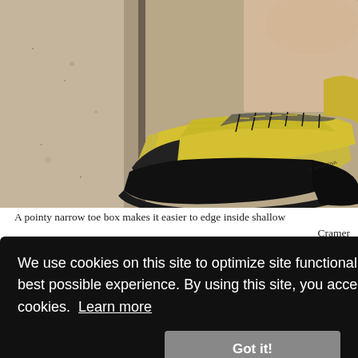[Figure (photo): Close-up photo of a person's foot wearing a yellow and black La Sportiva climbing shoe, pressing the pointed toe against a rough granite rock face for edging.]
A pointy narrow toe box makes it easier to edge inside shallow pockets. Photo: Cramer
or
oot in
e jams.
This design also allows your toes to lay flat, which
We use cookies on this site to optimize site functionality and give you the best possible experience. By using this site, you accept our use of cookies. Learn more
Got it!